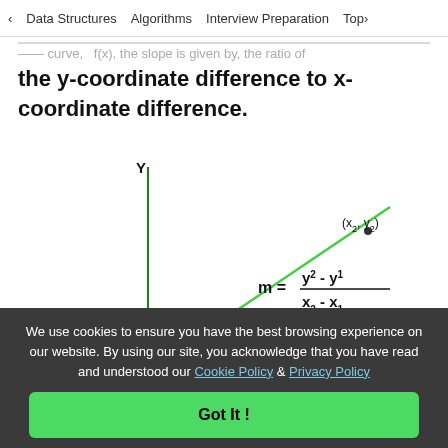< Data Structures   Algorithms   Interview Preparation   Top>
...curve, f(x), the slope is given by the ratio of the y-coordinate difference to x-coordinate difference.
[Figure (math-figure): Coordinate plane showing a green diagonal line with two points labeled (x1, y1) and (x2, y2), and the slope formula m = (y2 - y1) / (x2 - x1)]
We use cookies to ensure you have the best browsing experience on our website. By using our site, you acknowledge that you have read and understood our Cookie Policy & Privacy Policy
Got It !